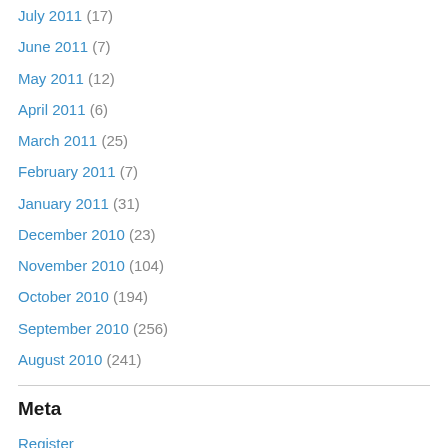July 2011 (17)
June 2011 (7)
May 2011 (12)
April 2011 (6)
March 2011 (25)
February 2011 (7)
January 2011 (31)
December 2010 (23)
November 2010 (104)
October 2010 (194)
September 2010 (256)
August 2010 (241)
Meta
Register
Log in
Entries feed
Comments feed